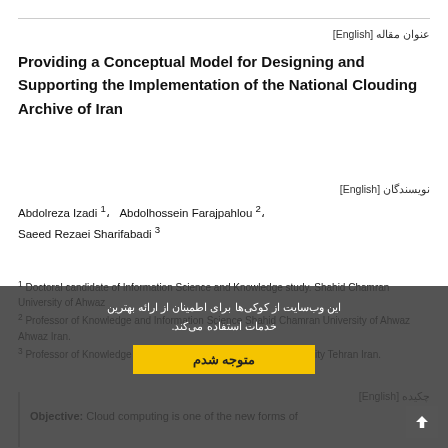عنوان مقاله [English]
Providing a Conceptual Model for Designing and Supporting the Implementation of the National Clouding Archive of Iran
نویسندگان [English]
Abdolreza Izadi 1، Abdolhossein Farajpahlou 2، Saeed Rezaei Sharifabadi 3
1 Doctoral candidate of Information Science and Knowledge study. Shahid Chamran University of Ahwaz
2 Professor of Knowledge and Information Science Shahid Chamran University of Ahwaz Ahwaz Iran.
3 Professor of Knowledge and Information Science Alzahra University Tehran Iran.
چکیده [English]
Objective: Cloud computing is one of the new forms of